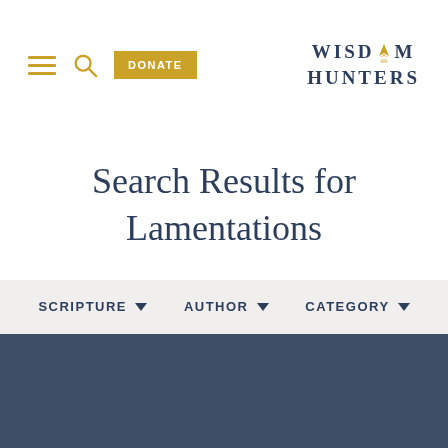Wisdom Hunters — DONATE
Search Results for Lamentations
SCRIPTURE ▼   AUTHOR ▼   CATEGORY ▼